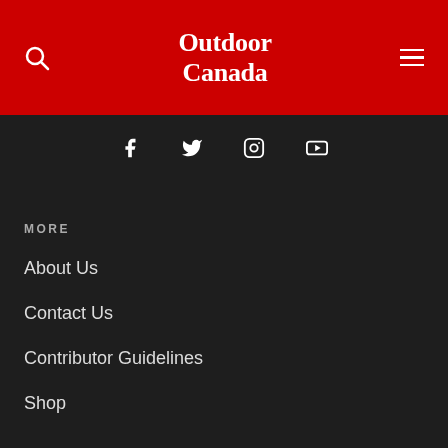Outdoor Canada
[Figure (logo): Outdoor Canada logo on red navigation bar with search icon and hamburger menu]
[Figure (infographic): Social media icons: Facebook, Twitter, Instagram, YouTube on dark background]
MORE
About Us
Contact Us
Contributor Guidelines
Shop
Privacy Policy
Terms of Service